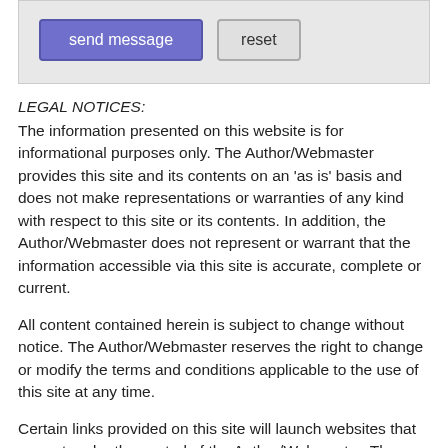[Figure (screenshot): Web form area with 'send message' button (purple/blue) and 'reset' button (gray) on a light gray background]
LEGAL NOTICES:
The information presented on this website is for informational purposes only. The Author/Webmaster provides this site and its contents on an 'as is' basis and does not make representations or warranties of any kind with respect to this site or its contents. In addition, the Author/Webmaster does not represent or warrant that the information accessible via this site is accurate, complete or current.
All content contained herein is subject to change without notice. The Author/Webmaster reserves the right to change or modify the terms and conditions applicable to the use of this site at any time.
Certain links provided on this site will launch websites that are not under the control of the Author/Webmaster. The Author/Webmaster provides these outside links solely as a